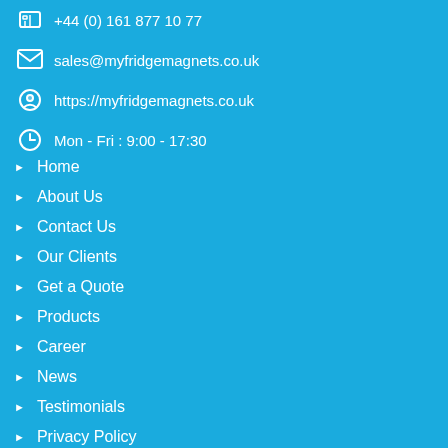+44 (0) 161 877 10 77
sales@myfridgemagnets.co.uk
https://myfridgemagnets.co.uk
Mon - Fri : 9:00 - 17:30
Home
About Us
Contact Us
Our Clients
Get a Quote
Products
Career
News
Testimonials
Privacy Policy